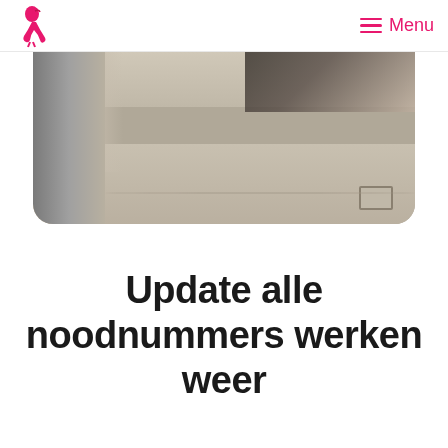Menu
[Figure (photo): Outdoor street/parking area photo showing a concrete pillar on the left, a paved road/surface, and a dark vehicle visible in the upper right. The image is cropped with rounded bottom corners.]
Update alle noodnummers werken weer